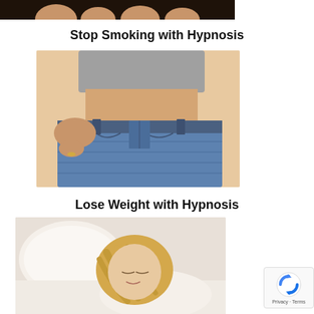[Figure (photo): Partial view of a person holding up oversized jeans waistband showing weight loss, cropped at top of page]
Stop Smoking with Hypnosis
[Figure (photo): Woman in grey top pulling out waistband of oversized jeans, demonstrating weight loss]
Lose Weight with Hypnosis
[Figure (photo): Blonde woman lying on a white bed, eyes closed, appearing relaxed or asleep]
[Figure (logo): reCAPTCHA badge with Privacy and Terms text]